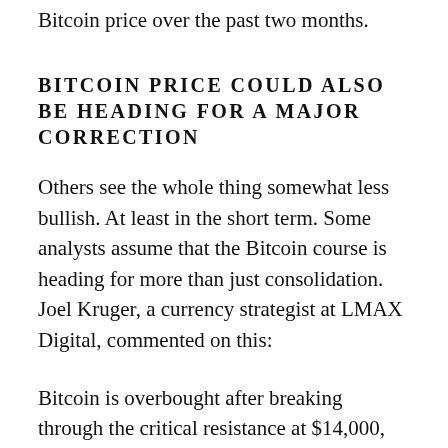Bitcoin price over the past two months.
BITCOIN PRICE COULD ALSO BE HEADING FOR A MAJOR CORRECTION
Others see the whole thing somewhat less bullish. At least in the short term. Some analysts assume that the Bitcoin course is heading for more than just consolidation. Joel Kruger, a currency strategist at LMAX Digital, commented on this:
Bitcoin is overbought after breaking through the critical resistance at $14,000, suggesting that we may see a period of correction and consolidation.